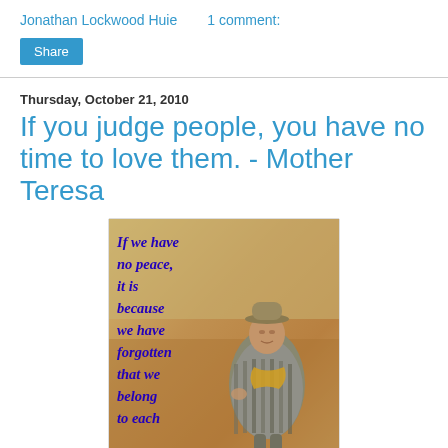Jonathan Lockwood Huie    1 comment:
Share
Thursday, October 21, 2010
If you judge people, you have no time to love them. - Mother Teresa
[Figure (photo): A photo of an elderly man wearing a hat and a striped poncho with a yellow scarf, standing in a desert/sandy landscape. Overlaid on the left side in bold italic dark blue text: 'If we have no peace, it is because we have forgotten that we belong to each']